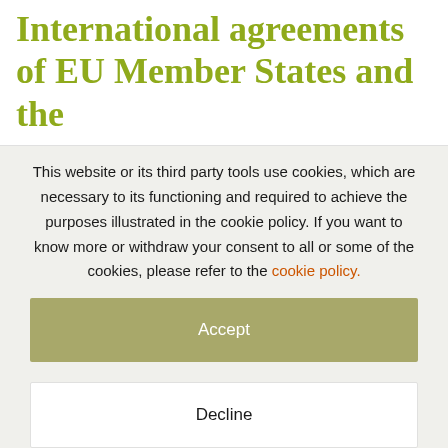International agreements of EU Member States and the
This website or its third party tools use cookies, which are necessary to its functioning and required to achieve the purposes illustrated in the cookie policy. If you want to know more or withdraw your consent to all or some of the cookies, please refer to the cookie policy.
Accept
Decline
Settings
More Info